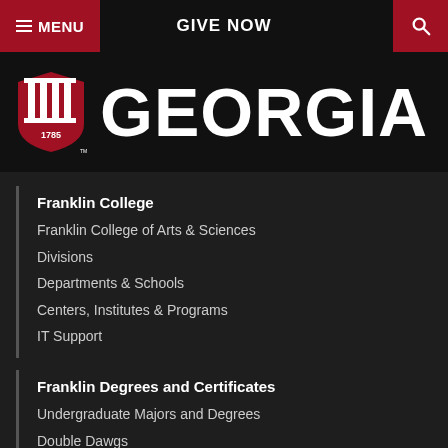MENU | GIVE NOW | Search
[Figure (logo): University of Georgia logo with crest showing 1785 and GEORGIA wordmark]
Franklin College
Franklin College of Arts & Sciences
Divisions
Departments & Schools
Centers, Institutes & Programs
IT Support
Franklin Degrees and Certificates
Undergraduate Majors and Degrees
Double Dawgs
Graduate Degrees
Graduate Admissions Portals
Experiential Learning
Resources
MyUGA
UGA Employment Opportunities